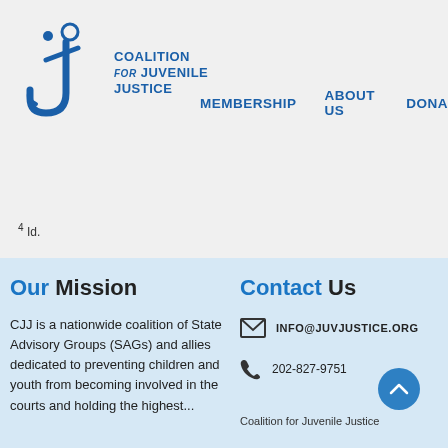[Figure (logo): Coalition for Juvenile Justice logo with stylized 'j' figure and organization name]
MEMBERSHIP   ABOUT US   DONA...
4 Id.
NEWS & RESOURCES
Our Mission
CJJ is a nationwide coalition of State Advisory Groups (SAGs) and allies dedicated to preventing children and youth from becoming involved in the courts and holding the highest...
Contact Us
INFO@JUVJUSTICE.ORG
202-827-9751
Coalition for Juvenile Justice